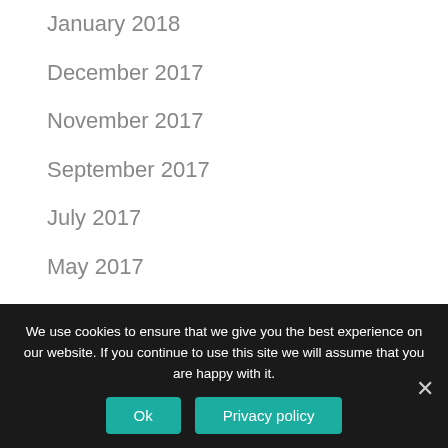January 2018
December 2017
November 2017
September 2017
July 2017
May 2017
March 2017
February 2017
November 2016
We use cookies to ensure that we give you the best experience on our website. If you continue to use this site we will assume that you are happy with it.